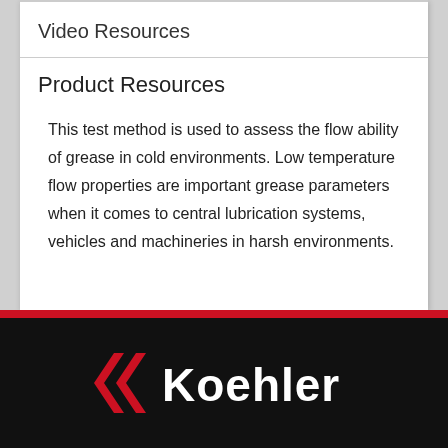Video Resources
Product Resources
This test method is used to assess the flow ability of grease in cold environments. Low temperature flow properties are important grease parameters when it comes to central lubrication systems, vehicles and machineries in harsh environments.
[Figure (logo): Koehler Instrument Company logo with red double chevron and white text on black background]